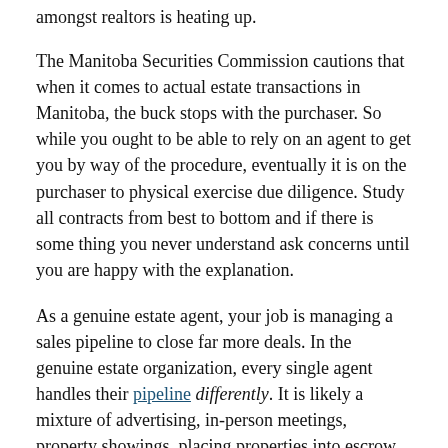amongst realtors is heating up.
The Manitoba Securities Commission cautions that when it comes to actual estate transactions in Manitoba, the buck stops with the purchaser. So while you ought to be able to rely on an agent to get you by way of the procedure, eventually it is on the purchaser to physical exercise due diligence. Study all contracts from best to bottom and if there is some thing you never understand ask concerns until you are happy with the explanation.
As a genuine estate agent, your job is managing a sales pipeline to close far more deals. In the genuine estate organization, every single agent handles their pipeline differently. It is likely a mixture of advertising, in-person meetings, property showings, placing properties into escrow, and closing on the properties.
But you might also be interested to know how genuine estate commissions are paid. Typically, there is a buyer broker agreement, beneath which the payment is produced straight to a buyer's broker and then the real estate agent gets the commission. But most of the agents are paid by way of a listing